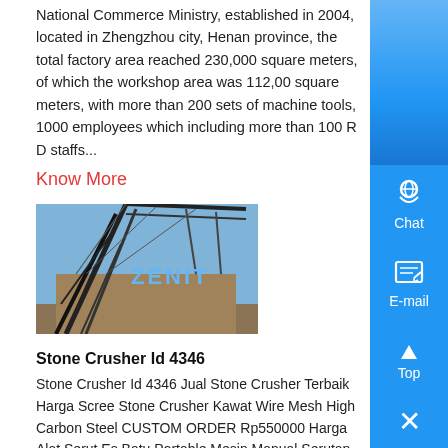National Commerce Ministry, established in 2004, located in Zhengzhou city, Henan province, the total factory area reached 230,000 square meters, of which the workshop area was 112,000 square meters, with more than 200 sets of machine tools, 1000 employees which including more than 100 R D staffs...
Know More
[Figure (photo): A photo of industrial machinery/crane structure with ZENIT branding text visible]
Stone Crusher Id 4346
Stone Crusher Id 4346 Jual Stone Crusher Terbaik Harga Screen Stone Crusher Kawat Wire Mesh High Carbon Steel CUSTOM ORDER Rp550000 Harga Alat Serut Es Batu Portable Mesin Manual Serutan Ice Stone Crusher Rp56900 Harga mesin jaw crusher 250 x 1000 ...